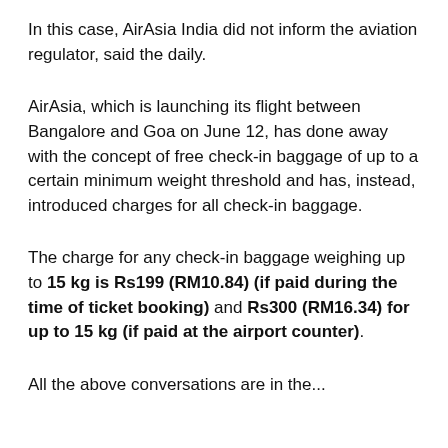In this case, AirAsia India did not inform the aviation regulator, said the daily.
AirAsia, which is launching its flight between Bangalore and Goa on June 12, has done away with the concept of free check-in baggage of up to a certain minimum weight threshold and has, instead, introduced charges for all check-in baggage.
The charge for any check-in baggage weighing up to 15 kg is Rs199 (RM10.84) (if paid during the time of ticket booking) and Rs300 (RM16.34) for up to 15 kg (if paid at the airport counter).
All the above conversations are in the...